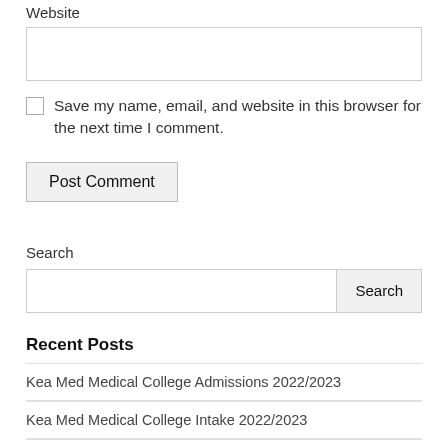Website
Save my name, email, and website in this browser for the next time I comment.
Post Comment
Search
Recent Posts
Kea Med Medical College Admissions 2022/2023
Kea Med Medical College Intake 2022/2023
Kea Med Medical College Online Application 2022/2023